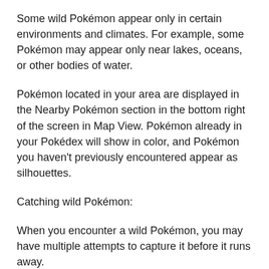Some wild Pokémon appear only in certain environments and climates. For example, some Pokémon may appear only near lakes, oceans, or other bodies of water.
Pokémon located in your area are displayed in the Nearby Pokémon section in the bottom right of the screen in Map View. Pokémon already in your Pokédex will show in color, and Pokémon you haven't previously encountered appear as silhouettes.
Catching wild Pokémon:
When you encounter a wild Pokémon, you may have multiple attempts to capture it before it runs away.
You can use items from your Bag to increase your chance of successfully catching a wild Pokémon. Razz Berries make the wild Pokémon easier to capture. High performance Poké Balls